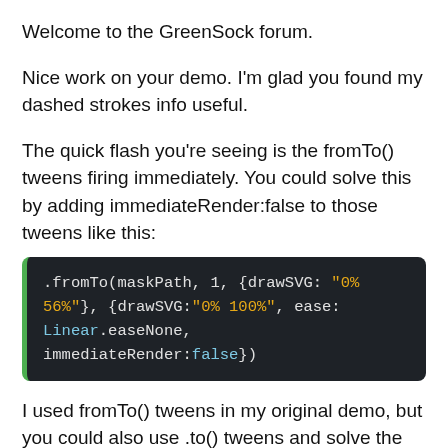Welcome to the GreenSock forum.
Nice work on your demo. I'm glad you found my dashed strokes info useful.
The quick flash you're seeing is the fromTo() tweens firing immediately. You could solve this by adding immediateRender:false to those tweens like this:
.fromTo(maskPath, 1, {drawSVG: "0% 56%"}, {drawSVG:"0% 100%", ease: Linear.easeNone, immediateRender:false})
I used fromTo() tweens in my original demo, but you could also use .to() tweens and solve the quick flash problem as well. Here's a fork of your pen with the...